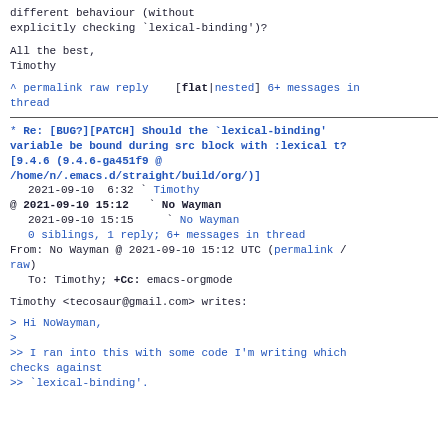different behaviour (without
explicitly checking `lexical-binding')?
All the best,
Timothy
^ permalink raw reply    [flat|nested] 6+ messages in thread
* Re: [BUG?][PATCH] Should the `lexical-binding' variable be bound during src block with :lexical t? [9.4.6 (9.4.6-ga451f9 @ /home/n/.emacs.d/straight/build/org/)]
  2021-09-10  6:32 ` Timothy
@ 2021-09-10 15:12   ` No Wayman
  2021-09-10 15:15     ` No Wayman
  0 siblings, 1 reply; 6+ messages in thread
From: No Wayman @ 2021-09-10 15:12 UTC (permalink / raw)
  To: Timothy; +Cc: emacs-orgmode
Timothy <tecosaur@gmail.com> writes:
> Hi NoWayman,
>
>> I ran into this with some code I'm writing which checks against
>> `lexical-binding'.